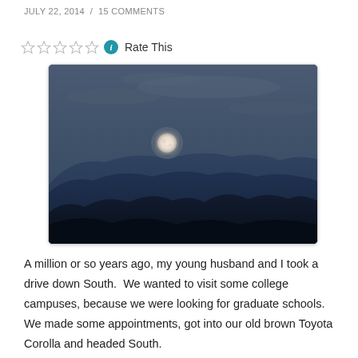JULY 22, 2014  /  15 COMMENTS
Rate This
[Figure (photo): Twilight mountain landscape with a full moon rising over blue-grey layered mountain ridges under a dusky sky]
A million or so years ago, my young husband and I took a drive down South.  We wanted to visit some college campuses, because we were looking for graduate schools.  We made some appointments, got into our old brown Toyota Corolla and headed South.